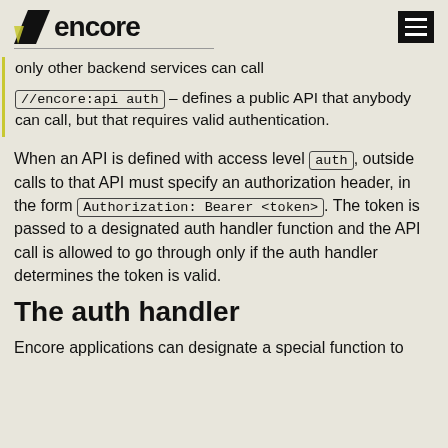encore
only other backend services can call
//encore:api auth – defines a public API that anybody can call, but that requires valid authentication.
When an API is defined with access level auth, outside calls to that API must specify an authorization header, in the form Authorization: Bearer <token>. The token is passed to a designated auth handler function and the API call is allowed to go through only if the auth handler determines the token is valid.
The auth handler
Encore applications can designate a special function to